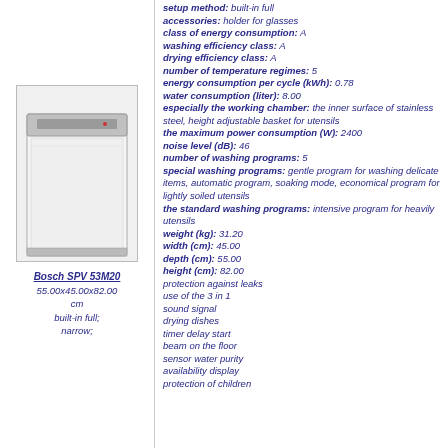[Figure (photo): Photo of Bosch SPV 53M20 dishwasher, built-in full, narrow model, white front panel with stainless steel top strip]
Bosch SPV 53M20
55.00x45.00x82.00 cm
built-in full;
narrow;
setup method: built-in full
accessories: holder for glasses
class of energy consumption: A
washing efficiency class: A
drying efficiency class: A
number of temperature regimes: 5
energy consumption per cycle (kWh): 0.78
water consumption (liter): 8.00
especially the working chamber: the inner surface of stainless steel, height adjustable basket for utensils
the maximum power consumption (W): 2400
noise level (dB): 46
number of washing programs: 5
special washing programs: gentle program for washing delicate items, automatic program, soaking mode, economical program for lightly soiled utensils
the standard washing programs: intensive program for heavily utensils
weight (kg): 31.20
width (cm): 45.00
depth (cm): 55.00
height (cm): 82.00
protection against leaks
use of the 3 in 1
sound signal
drying dishes
timer delay start
beam on the floor
sensor water purity
availability display
protection of children